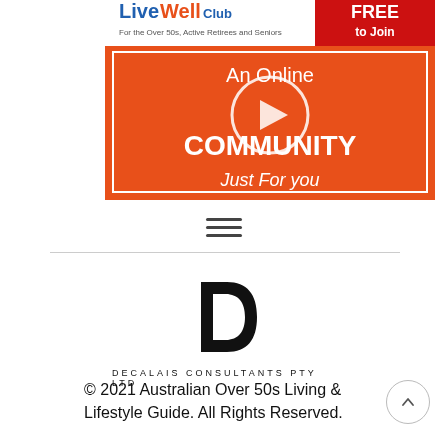[Figure (illustration): LiveWell Club advertisement banner — orange background with white text reading 'An Online COMMUNITY Just For you', a play button circle in the center, blue/white LiveWell Club logo top-left, and 'FREE to Join' badge top-right.]
[Figure (other): Hamburger menu icon — three horizontal dark lines]
[Figure (logo): Decalais Consultants Pty Ltd logo — stylised letter D in black with inner cutout, text below reading 'DECALAIS CONSULTANTS PTY LTD']
© 2021 Australian Over 50s Living & Lifestyle Guide. All Rights Reserved.